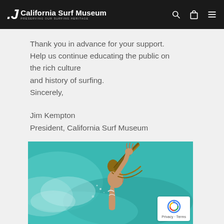California Surf Museum — PRESERVING OUR SURFING HERITAGE
Thank you in advance for your support. Help us continue educating the public on the rich culture and history of surfing. Sincerely,
Jim Kempton
President, California Surf Museum
[Figure (photo): A female surfer with long braided hair tossing her hair back with her hand raised, in a dynamic action shot against teal ocean water background.]